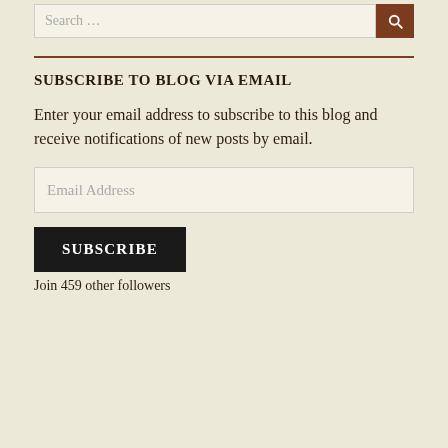[Figure (screenshot): Search bar with text input showing 'Search ...' placeholder and a brown search button with magnifying glass icon]
SUBSCRIBE TO BLOG VIA EMAIL
Enter your email address to subscribe to this blog and receive notifications of new posts by email.
[Figure (screenshot): Email Address input field with placeholder text]
[Figure (screenshot): SUBSCRIBE button in black]
Join 459 other followers